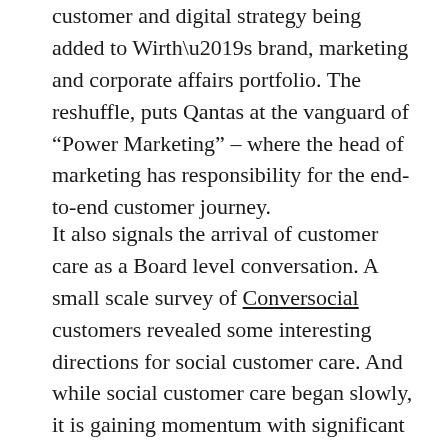customer and digital strategy being added to Wirth’s brand, marketing and corporate affairs portfolio. The reshuffle, puts Qantas at the vanguard of “Power Marketing” – where the head of marketing has responsibility for the end-to-end customer journey.
It also signals the arrival of customer care as a Board level conversation. A small scale survey of Conversocial customers revealed some interesting directions for social customer care. And while social customer care began slowly, it is gaining momentum with significant investments in social contact centre staffing, technology and process. Social is the “low hanging fruit” of customer service channels